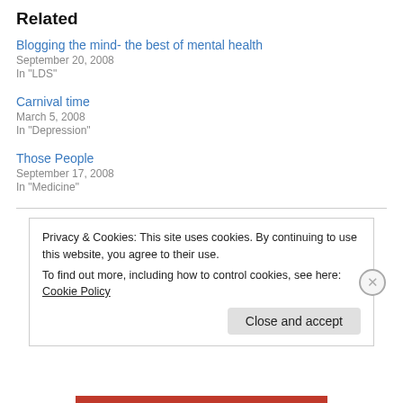Related
Blogging the mind- the best of mental health
September 20, 2008
In "LDS"
Carnival time
March 5, 2008
In "Depression"
Those People
September 17, 2008
In "Medicine"
Privacy & Cookies: This site uses cookies. By continuing to use this website, you agree to their use.
To find out more, including how to control cookies, see here: Cookie Policy